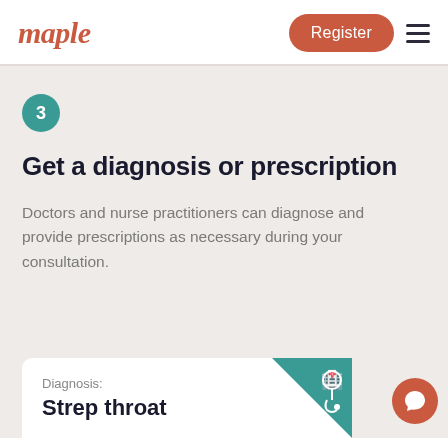maple
3
Get a diagnosis or prescription
Doctors and nurse practitioners can diagnose and provide prescriptions as necessary during your consultation.
Diagnosis:
Strep throat